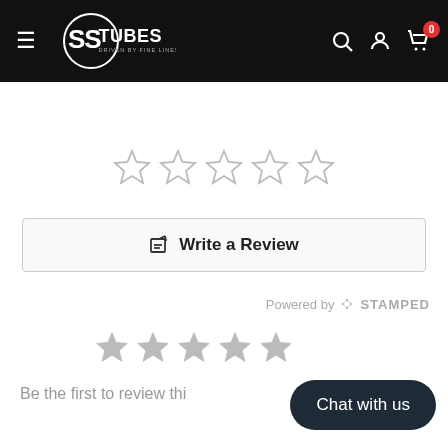[Figure (logo): SS Tubes logo - circular logo with 'SS TUBES - DRIVEN BY FINE LINES' text, white on black header background]
[Figure (other): Five empty star rating icons (outline only, gray) for user rating input]
Write a Review
Powered by STAMPED
[Figure (other): Four filled gray star icons indicating existing rating display]
Be the first to review thi...
Chat with us